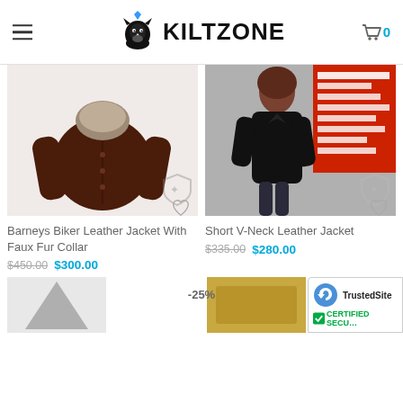KILTZONE
[Figure (photo): Barneys Biker Leather Jacket With Faux Fur Collar - brown leather jacket with fur collar, product photo]
Barneys Biker Leather Jacket With Faux Fur Collar
$450.00  $300.00
[Figure (photo): Short V-Neck Leather Jacket - woman wearing black leather jacket outdoors near a red no-standing sign]
Short V-Neck Leather Jacket
$335.00  $280.00
-25%